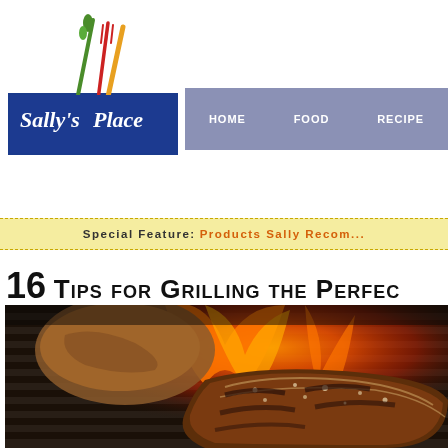[Figure (logo): Sally's Place logo with fork, asparagus, and pencil crossed, on a blue banner with white cursive text]
[Figure (screenshot): Navigation bar with HOME, FOOD, RECIPE menu items on a muted blue-gray background]
Special Feature: Products Sally Recom...
16 TIPS FOR GRILLING THE PERFEC...
[Figure (photo): Close-up photo of a seasoned steak grilling over open flames on a grill grate]